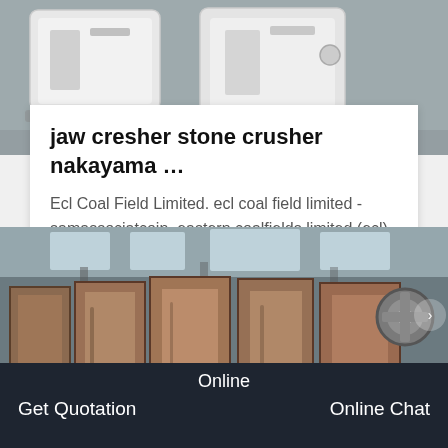[Figure (photo): Industrial white jaw crusher / stone crusher machinery photographed from above on a gray floor]
jaw cresher stone crusher nakayama …
Ecl Coal Field Limited. ecl coal field limited - samassociatcoin. eastern coalfields limited (ecl) is a coal
[Figure (photo): Heavy industrial crusher machinery with rusty metal components inside a factory building]
Online
Get Quotation
Online Chat